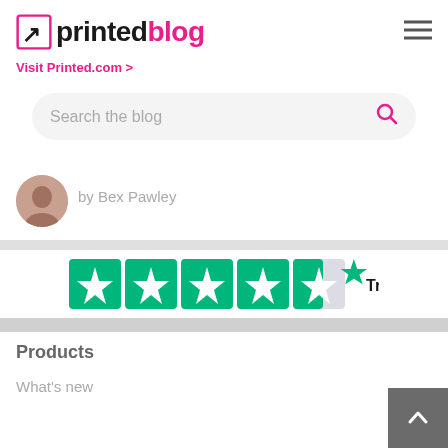[Figure (logo): Printed Blog logo with pink arrow icon and text 'printed' in black and 'blog' in pink, plus hamburger menu icon]
Visit Printed.com >
Search the blog
[Figure (photo): Circular author avatar photo showing a person]
by Bex Pawley
[Figure (logo): Trustpilot rating widget showing 4.5 green stars and Trustpilot logo]
Products
What's new